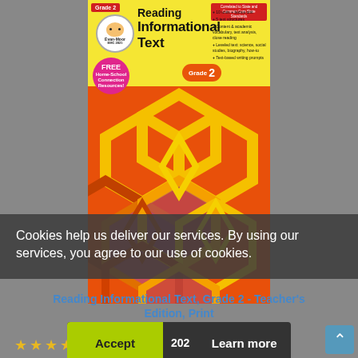[Figure (illustration): Book cover of 'Reading Informational Text, Grade 2' by Evan-Moor, featuring hexagonal geometric pattern on orange/red background with yellow top bar, FREE sticker, bullet point features list, and grade badge.]
Cookies help us deliver our services. By using our services, you agree to our use of cookies.
Reading Informational Text, Grade 2 - Teacher's Edition, Print
202
Accept
Learn more